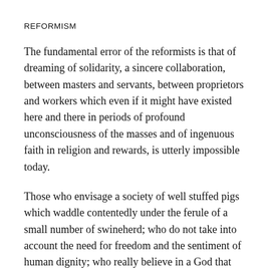REFORMISM
The fundamental error of the reformists is that of dreaming of solidarity, a sincere collaboration, between masters and servants, between proprietors and workers which even if it might have existed here and there in periods of profound unconsciousness of the masses and of ingenuous faith in religion and rewards, is utterly impossible today.
Those who envisage a society of well stuffed pigs which waddle contentedly under the ferule of a small number of swineherd; who do not take into account the need for freedom and the sentiment of human dignity; who really believe in a God that orders, for his abstruse ends, the poor to be submissive and the rich to be good and charitable–can also imagine and aspire